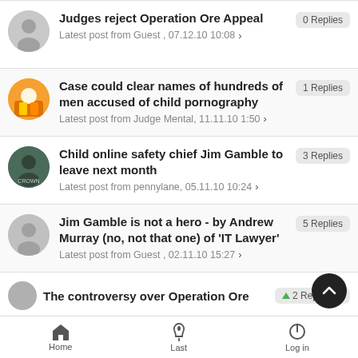Judges reject Operation Ore Appeal
Latest post from Guest , 07.12.10 10:08 > | 0 Replies
Case could clear names of hundreds of men accused of child pornography
Latest post from Judge Mental, 11.11.10 1:50 > | 1 Replies
Child online safety chief Jim Gamble to leave next month
Latest post from pennylane, 05.11.10 10:24 > | 3 Replies
Jim Gamble is not a hero - by Andrew Murray (no, not that one) of 'IT Lawyer'
Latest post from Guest , 02.11.10 15:27 > | 5 Replies
The controversy over Operation Ore | 2 Replies
Home  Last  Log in